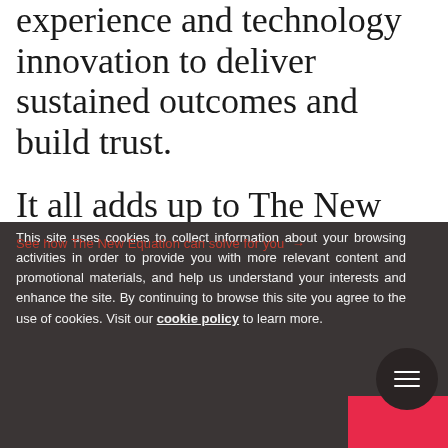experience and technology innovation to deliver sustained outcomes and build trust.
It all adds up to The New Equation.
See how The New Equation can solve for you →
This site uses cookies to collect information about your browsing activities in order to provide you with more relevant content and promotional materials, and help us understand your interests and enhance the site. By continuing to browse this site you agree to the use of cookies. Visit our cookie policy to learn more.